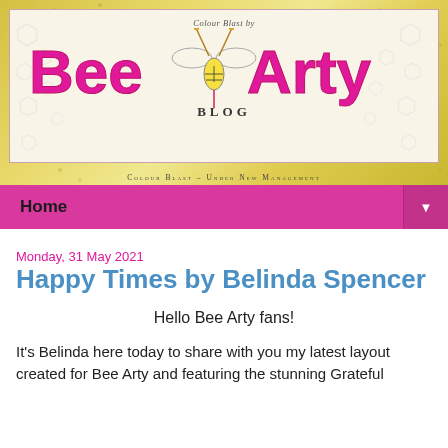[Figure (illustration): Bee Arty Blog banner header with yellow/gold textured background, large pink bold text 'Bee Arty' with a bee and paintbrush illustration in the center, 'Colour Blast by' above and 'BLOG' below the main text, subtitle 'Colour Blast – Under New Management' at the bottom of the banner.]
Home ▼
Monday, 31 May 2021
Happy Times by Belinda Spencer
Hello Bee Arty fans!
It's Belinda here today to share with you my latest layout created for Bee Arty and featuring the stunning Grateful